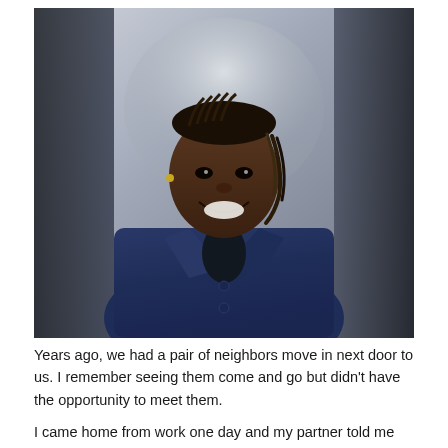[Figure (photo): Portrait photo of a smiling man with braided hair, wearing a navy blue suit jacket over a dark shirt, photographed in a corridor or outdoor setting with blurred background.]
Years ago, we had a pair of neighbors move in next door to us. I remember seeing them come and go but didn't have the opportunity to meet them.
I came home from work one day and my partner told me he met one of our new neighbors. He learned they had just